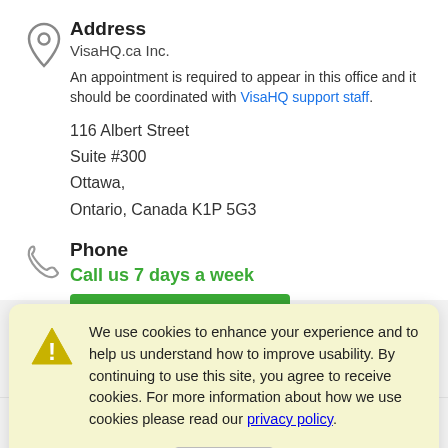Address
VisaHQ.ca Inc.
An appointment is required to appear in this office and it should be coordinated with VisaHQ support staff.
116 Albert Street
Suite #300
Ottawa,
Ontario, Canada K1P 5G3
Phone
Call us 7 days a week
[Figure (screenshot): Green button showing phone number 1-800-715-2075]
We use cookies to enhance your experience and to help us understand how to improve usability. By continuing to use this site, you agree to receive cookies. For more information about how we use cookies please read our privacy policy.
OK
Call center hours
Monday — Friday 9:00 am - 4:00 pm ET